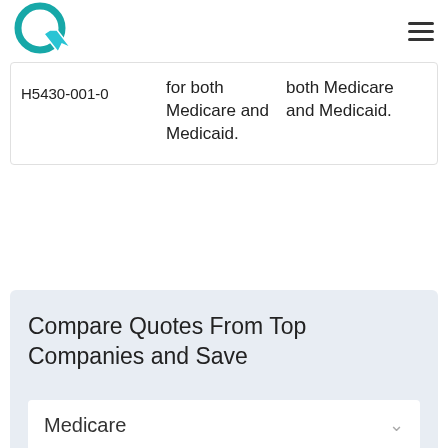[Figure (logo): QuoteWizard logo: teal circular Q with cursor arrow inside]
| Plan ID | Coverage Info Col 1 | Coverage Info Col 2 |
| --- | --- | --- |
| H5430-001-0 | for both Medicare and Medicaid. | both Medicare and Medicaid. |
Compare Quotes From Top Companies and Save
Medicare